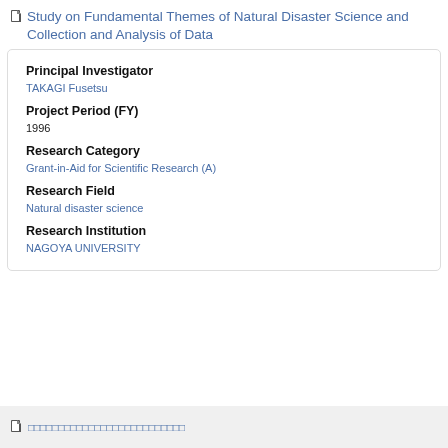Study on Fundamental Themes of Natural Disaster Science and Collection and Analysis of Data
Principal Investigator
TAKAGI Fusetsu
Project Period (FY)
1996
Research Category
Grant-in-Aid for Scientific Research (A)
Research Field
Natural disaster science
Research Institution
NAGOYA UNIVERSITY
□□□□□□□□□□□□□□□□□□□□□□□□□□